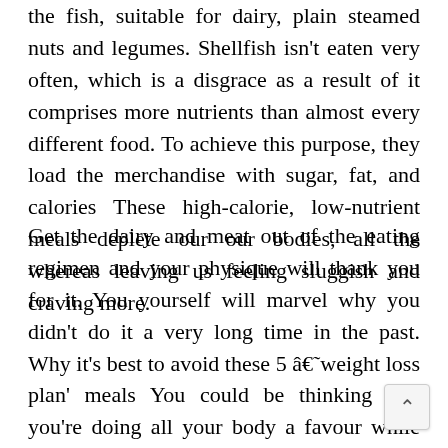the fish, suitable for dairy, plain steamed nuts and legumes. Shellfish isn't eaten very often, which is a disgrace as a result of it comprises more nutrients than almost every different food. To achieve this purpose, they load the merchandise with sugar, fat, and calories These high-calorie, low-nutrient meals deplete our our bodies, all the whereas leaving us feeling sluggish and craving more.
Get the dairy and meat out of the eating regimen and your physique will thank you for it. You yourself will marvel why you didn't do it a very long time in the past. Why it's best to avoid these 5 â€˜weight loss plan' meals You could be thinking that you're doing all your body a favour while you purchase these things, however they are really not good for you. This may change up your meals and nutrient intakes and hopefully add new and healthy recipes to your routine.